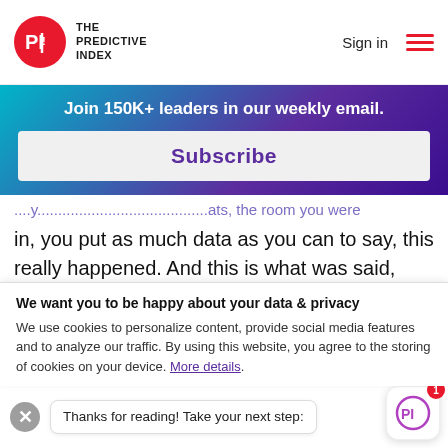THE PREDICTIVE INDEX | Sign in
Join 150K+ leaders in our weekly email.
Subscribe
in, you put as much data as you can to say, this really happened. And this is what was said, make it as fact-based as you can. Cause whether you go to HR or not, you're
We want you to be happy about your data & privacy
We use cookies to personalize content, provide social media features and to analyze our traffic. By using this website, you agree to the storing of cookies on your device. More details.
Thanks for reading! Take your next step: